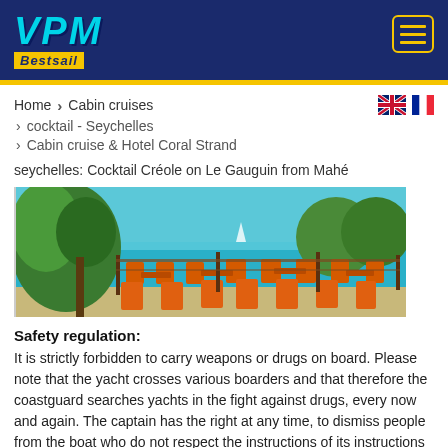[Figure (logo): VPM Bestsail logo on dark navy header background with hamburger menu button]
Home › Cabin cruises › cocktail - Seychelles › Cabin cruise & Hotel Coral Strand
seychelles: Cocktail Créole on Le Gauguin from Mahé
[Figure (photo): Beach restaurant with orange chairs and tables, tropical greenery, turquoise sea in background]
Safety regulation:
It is strictly forbidden to carry weapons or drugs on board. Please note that the yacht crosses various boarders and that therefore the coastguard searches yachts in the fight against drugs, every now and again. The captain has the right at any time, to dismiss people from the boat who do not respect the instructions of its instructions or are a danger to the life...